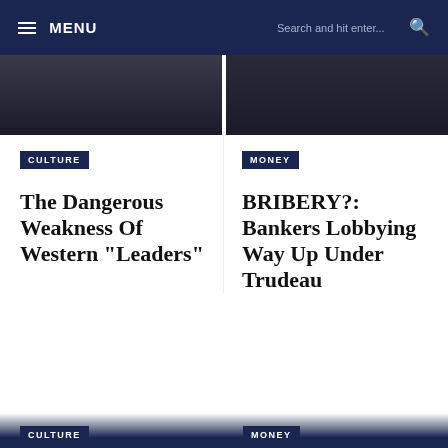MENU | Search and hit enter...
[Figure (photo): Two dark editorial photos side by side forming an image strip]
CULTURE
The Dangerous Weakness Of Western “Leaders”
MONEY
BRIBERY?: Bankers Lobbying Way Up Under Trudeau